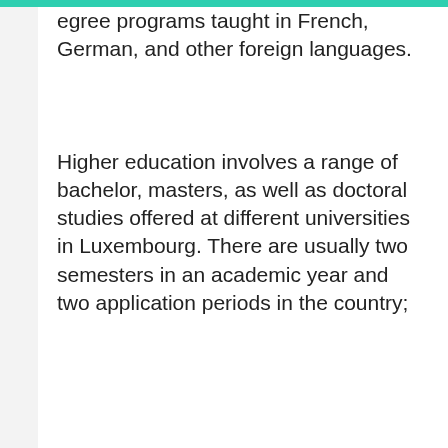egree programs taught in French, German, and other foreign languages.
Higher education involves a range of bachelor, masters, as well as doctoral studies offered at different universities in Luxembourg. There are usually two semesters in an academic year and two application periods in the country;
Semester One: Application period from
RocApply uses Cookies to ensure you get the best experience on our Website and over the Web.  Data Privacy
Got it!
Alright!
out
Luxembourg offers a very favorable study